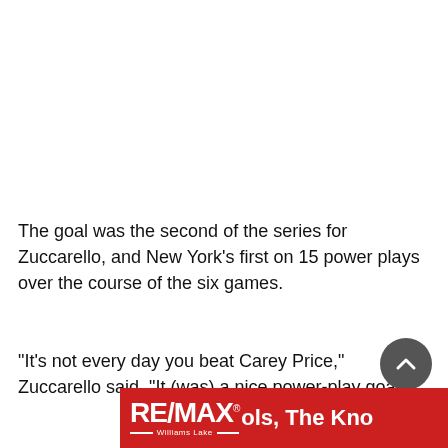The goal was the second of the series for Zuccarello, and New York's first on 15 power plays over the course of the six games.
“It’s not every day you beat Carey Price,” Zuccarello said. “It (was) a nice power-play goal.
[Figure (logo): RE/MAX Williams Lake advertisement banner with red background, white RE/MAX logo and text 'ols, The Kno']